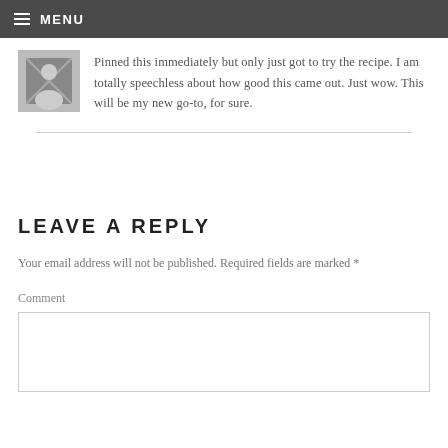MENU
Pinned this immediately but only just got to try the recipe. I am totally speechless about how good this came out. Just wow. This will be my new go-to, for sure.
LEAVE A REPLY
Your email address will not be published. Required fields are marked *
Comment